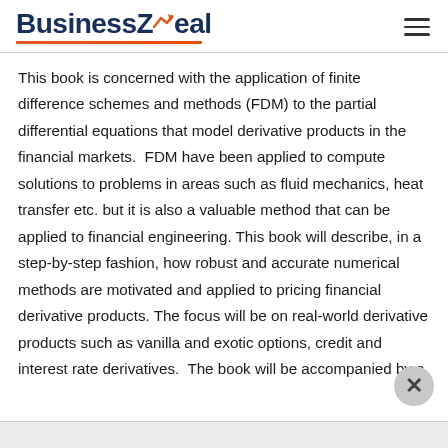BusinessZeal
This book is concerned with the application of finite difference schemes and methods (FDM) to the partial differential equations that model derivative products in the financial markets.  FDM have been applied to compute solutions to problems in areas such as fluid mechanics, heat transfer etc. but it is also a valuable method that can be applied to financial engineering. This book will describe, in a step-by-step fashion, how robust and accurate numerical methods are motivated and applied to pricing financial derivative products. The focus will be on real-world derivative products such as vanilla and exotic options, credit and interest rate derivatives.  The book will be accompanied by a